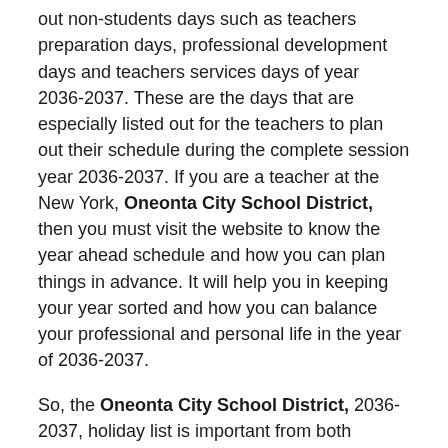out non-students days such as teachers preparation days, professional development days and teachers services days of year 2036-2037. These are the days that are especially listed out for the teachers to plan out their schedule during the complete session year 2036-2037. If you are a teacher at the New York, Oneonta City School District, then you must visit the website to know the year ahead schedule and how you can plan things in advance. It will help you in keeping your year sorted and how you can balance your professional and personal life in the year of 2036-2037.
So, the Oneonta City School District, 2036-2037, holiday list is important from both students and teachers perspectives. You can make things easier for yourself in just a click away. If planned well school holidays of 2036-2037 can be a great time to enjoy, relax, rejoice, celebrate, learn and make as many memories as you would want to. So, if you are a student, teacher or parent of a student of